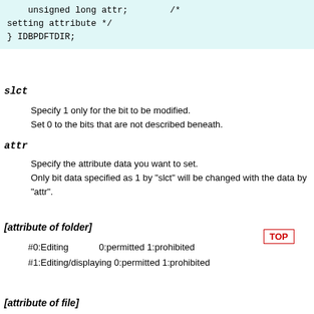unsigned long attr;        /* setting attribute */
} IDBPDFTDIR;
slct
Specify 1 only for the bit to be modified.
Set 0 to the bits that are not described beneath.
attr
Specify the attribute data you want to set.
Only bit data specified as 1 by "slct" will be changed with the data by "attr".
[attribute of folder]
#0:Editing            0:permitted 1:prohibited
#1:Editing/displaying 0:permitted 1:prohibited
TOP
[attribute of file]